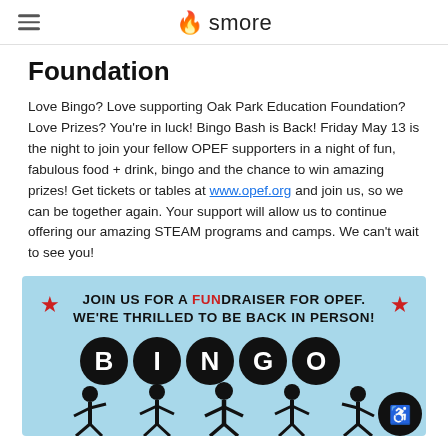smore
Foundation
Love Bingo? Love supporting Oak Park Education Foundation? Love Prizes? You're in luck! Bingo Bash is Back! Friday May 13 is the night to join your fellow OPEF supporters in a night of fun, fabulous food + drink, bingo and the chance to win amazing prizes! Get tickets or tables at www.opef.org and join us, so we can be together again. Your support will allow us to continue offering our amazing STEAM programs and camps. We can't wait to see you!
[Figure (illustration): Bingo fundraiser promotional image on light blue background with text 'JOIN US FOR A FUNdraiser FOR OPEF. WE'RE THRILLED TO BE BACK IN PERSON!' with red stars, and black circles spelling out BINGO with stick figures below]